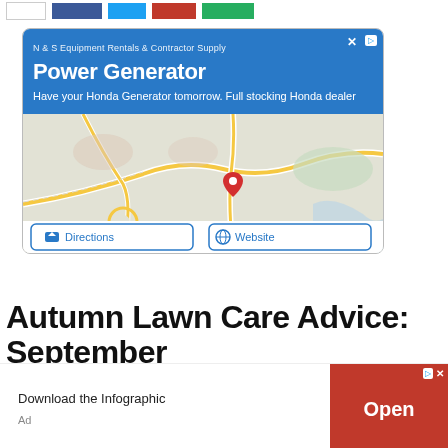[Figure (other): Top navigation bar with share buttons: white, dark blue (Facebook), cyan (Twitter), red, and green colored buttons]
[Figure (other): Google Ads advertisement card for N & S Equipment Rentals & Contractor Supply featuring Power Generator ad with map showing location, Directions and Website buttons]
Autumn Lawn Care Advice: September
[Figure (other): Bottom banner advertisement: Download the Infographic with red Open button]